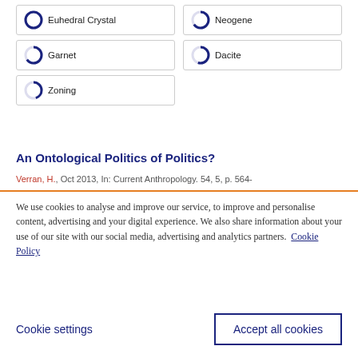[Figure (other): Grid of keyword tags with donut chart icons: Euhedral Crystal (100%), Neogene (~65%), Garnet (~65%), Dacite (~55%), Zoning (~45%)]
An Ontological Politics of Politics?
Verran, H., Oct 2013, In: Current Anthropology. 54, 5, p. 564-
We use cookies to analyse and improve our service, to improve and personalise content, advertising and your digital experience. We also share information about your use of our site with our social media, advertising and analytics partners.  Cookie Policy
Cookie settings
Accept all cookies